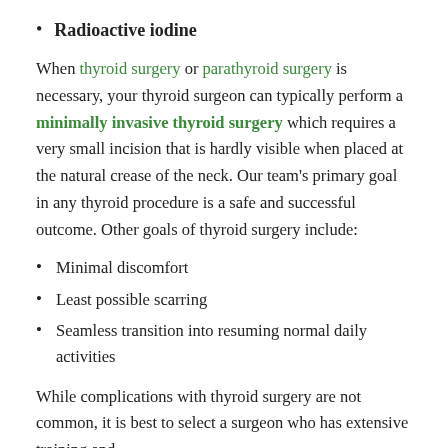Radioactive iodine
When thyroid surgery or parathyroid surgery is necessary, your thyroid surgeon can typically perform a minimally invasive thyroid surgery which requires a very small incision that is hardly visible when placed at the natural crease of the neck. Our team's primary goal in any thyroid procedure is a safe and successful outcome. Other goals of thyroid surgery include:
Minimal discomfort
Least possible scarring
Seamless transition into resuming normal daily activities
While complications with thyroid surgery are not common, it is best to select a surgeon who has extensive training and